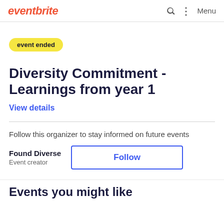eventbrite | Menu
event ended
Diversity Commitment - Learnings from year 1
View details
Follow this organizer to stay informed on future events
Found Diverse
Event creator
Follow
Events you might like